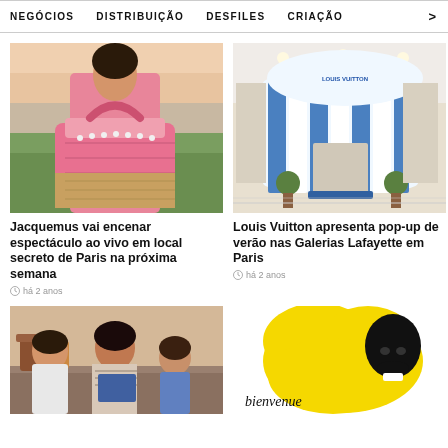NEGÓCIOS   DISTRIBUIÇÃO   DESFILES   CRIAÇÃO   >
[Figure (photo): Woman holding a pink handbag outdoors with green fields in background]
Jacquemus vai encenar espectáculo ao vivo em local secreto de Paris na próxima semana
há 2 anos
[Figure (photo): Louis Vuitton pop-up store with blue and white striped cabana design inside Galeries Lafayette Paris]
Louis Vuitton apresenta pop-up de verão nas Galerias Lafayette em Paris
há 2 anos
[Figure (photo): Family sitting on sofa reading together - man, woman and child]
[Figure (illustration): Yellow splash illustration with black and white face graphic and text 'bienvenue']